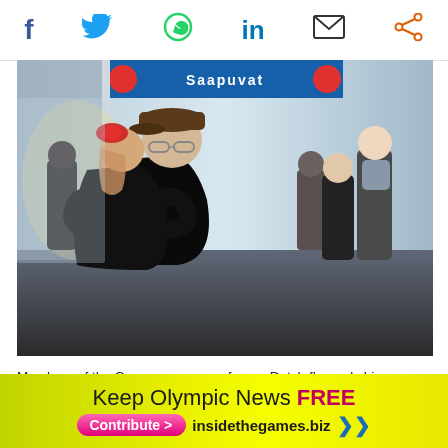[Figure (other): Social media sharing icon bar with Facebook, Twitter, WhatsApp, LinkedIn, Email, and Share icons]
[Figure (photo): Members of the Greenpeace crew embracing in an airport arrivals hall with a blue 'Saapuvat' (Arrivals) sign overhead. Several people are visible in the background. A man wearing a brown cap and glasses hugs someone with a red hair accessory.]
Members of the Greenpeace crew, from a Dutch flagged ship, celebrate after being released last month following three months...
[Figure (other): Advertisement banner: 'Keep Olympic News FREE - Contribute > insidethegames.biz >>' on a yellow-green gradient background with a pink Contribute button.]